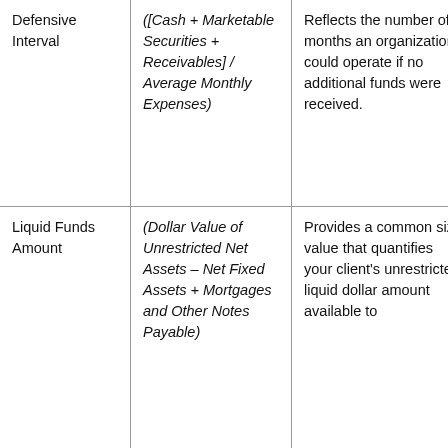| Defensive Interval | ([Cash + Marketable Securities + Receivables] / Average Monthly Expenses) | Reflects the number of months an organization could operate if no additional funds were received. | BS |
| Liquid Funds Amount | (Dollar Value of Unrestricted Net Assets – Net Fixed Assets + Mortgages and Other Notes Payable) | Provides a common size value that quantifies your client's unrestricted liquid dollar amount available to support operations. | BS |